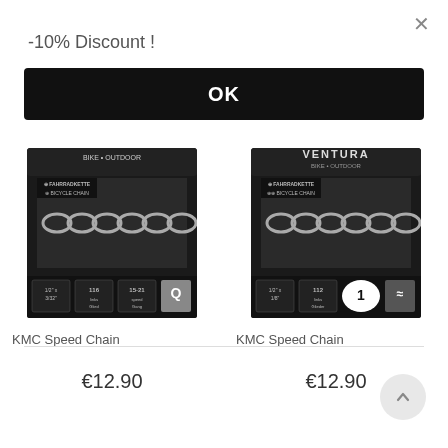×
-10% Discount !
OK
[Figure (photo): KMC Speed Chain bicycle chain product packaging — black card with silver chain, FAHRRADKETTE / BICYCLE CHAIN text, specs 1/2" x 3/32", 116 links, 15-21 speed range]
KMC Speed Chain
[Figure (photo): KMC Speed Chain bicycle chain product packaging — black card with Ventura branding, silver chain, FAHRRADKETTE / BICYCLE CHAIN text, specs 1/2" x 1/8", 112 links, 1 speed]
KMC Speed Chain
€12.90
€12.90